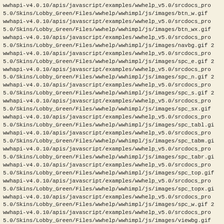wwhapi-v4.0.10/apis/javascript/examples/wwhelp_v5.0/srcdocs_pro 5.0/Skins/Lobby_Green/Files/wwhelp/wwhimpl/js/images/btn_w.gif wwhapi-v4.0.10/apis/javascript/examples/wwhelp_v5.0/srcdocs_pro 5.0/Skins/Lobby_Green/Files/wwhelp/wwhimpl/js/images/btn_wx.gif wwhapi-v4.0.10/apis/javascript/examples/wwhelp_v5.0/srcdocs_pro 5.0/Skins/Lobby_Green/Files/wwhelp/wwhimpl/js/images/navbg.gif wwhapi-v4.0.10/apis/javascript/examples/wwhelp_v5.0/srcdocs_pro 5.0/Skins/Lobby_Green/Files/wwhelp/wwhimpl/js/images/spc_e.gif wwhapi-v4.0.10/apis/javascript/examples/wwhelp_v5.0/srcdocs_pro 5.0/Skins/Lobby_Green/Files/wwhelp/wwhimpl/js/images/spc_n.gif wwhapi-v4.0.10/apis/javascript/examples/wwhelp_v5.0/srcdocs_pro 5.0/Skins/Lobby_Green/Files/wwhelp/wwhimpl/js/images/spc_s.gif wwhapi-v4.0.10/apis/javascript/examples/wwhelp_v5.0/srcdocs_pro 5.0/Skins/Lobby_Green/Files/wwhelp/wwhimpl/js/images/spc_sx.gif wwhapi-v4.0.10/apis/javascript/examples/wwhelp_v5.0/srcdocs_pro 5.0/Skins/Lobby_Green/Files/wwhelp/wwhimpl/js/images/spc_tabl.g wwhapi-v4.0.10/apis/javascript/examples/wwhelp_v5.0/srcdocs_pro 5.0/Skins/Lobby_Green/Files/wwhelp/wwhimpl/js/images/spc_tabm.g wwhapi-v4.0.10/apis/javascript/examples/wwhelp_v5.0/srcdocs_pro 5.0/Skins/Lobby_Green/Files/wwhelp/wwhimpl/js/images/spc_tabr.g wwhapi-v4.0.10/apis/javascript/examples/wwhelp_v5.0/srcdocs_pro 5.0/Skins/Lobby_Green/Files/wwhelp/wwhimpl/js/images/spc_top.gif wwhapi-v4.0.10/apis/javascript/examples/wwhelp_v5.0/srcdocs_pro 5.0/Skins/Lobby_Green/Files/wwhelp/wwhimpl/js/images/spc_topx.g wwhapi-v4.0.10/apis/javascript/examples/wwhelp_v5.0/srcdocs_pro 5.0/Skins/Lobby_Green/Files/wwhelp/wwhimpl/js/images/spc_w.gif wwhapi-v4.0.10/apis/javascript/examples/wwhelp_v5.0/srcdocs_pro 5.0/Skins/Lobby_Green/Files/wwhelp/wwhimpl/js/images/viewbg.gif wwhapi-v4.0.10/apis/javascript/examples/wwhelp_v5.0/srcdocs_pro 5.0/Skins/Lobby_Green/wwhelp_settings.xml 2005-12-11 22:23:50 wwhapi-v4.0.10/apis/javascript/examples/wwhelp_v5.0/srcdocs_pro 07 12:30:20           0 wwhapi-v4.0.10/apis/javascript/examples/wwhelp_v5.0/srcdocs_pro 2007-05-07 12:30:20           0 wwhapi-v4.0.10/apis/javascript/examples/wwhelp_v5.0/srcdocs_pro 5.0/Skins/Lobby_Red/Files/wwhelp/ 2007-05-07 12:30:20 wwhapi-v4.0.10/apis/javascript/examples/wwhelp_v5.0/srcdocs